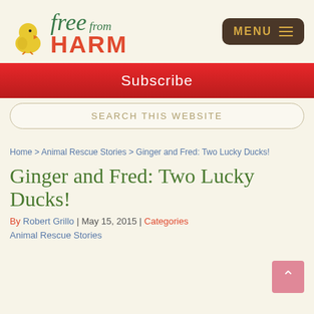[Figure (logo): Free from Harm logo with yellow chick, green italic 'free from' text and red bold 'HARM' text]
[Figure (other): Dark brown rounded rectangle MENU button with gold text and three horizontal lines icon]
Subscribe
SEARCH THIS WEBSITE
Home > Animal Rescue Stories > Ginger and Fred: Two Lucky Ducks!
Ginger and Fred: Two Lucky Ducks!
By Robert Grillo | May 15, 2015 | Categories
Animal Rescue Stories